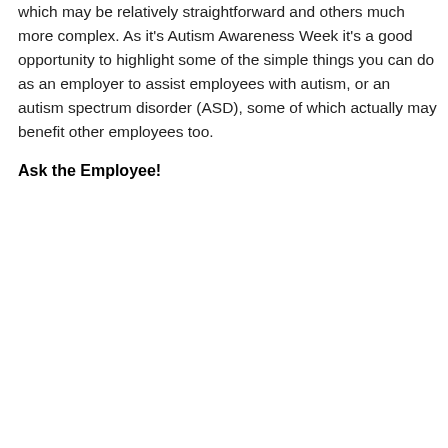which may be relatively straightforward and others much more complex. As it's Autism Awareness Week it's a good opportunity to highlight some of the simple things you can do as an employer to assist employees with autism, or an autism spectrum disorder (ASD), some of which actually may benefit other employees too.
Ask the Employee!